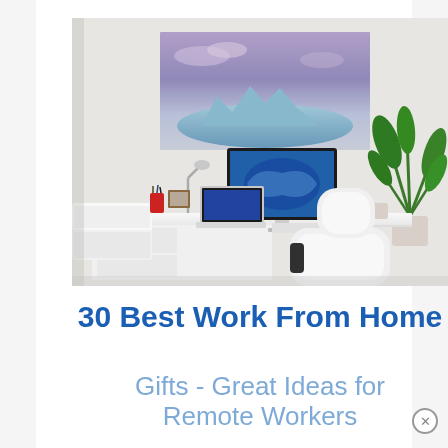[Figure (photo): A home office setup with a white desk, iMac computer, laptop, desk lamp, printer, office chair (white leather), and a tall green plant in the corner. A large landscape artwork showing an iceberg/glacier under a purple sky hangs on the white wall above the desk.]
30 Best Work From Home Gifts - Great Ideas for Remote Workers